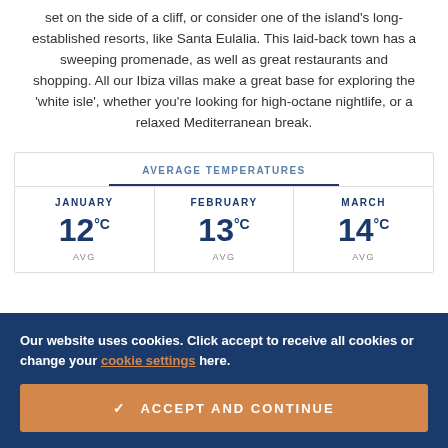set on the side of a cliff, or consider one of the island's long-established resorts, like Santa Eulalia. This laid-back town has a sweeping promenade, as well as great restaurants and shopping. All our Ibiza villas make a great base for exploring the 'white isle', whether you're looking for high-octane nightlife, or a relaxed Mediterranean break.
| JANUARY | FEBRUARY | MARCH |
| --- | --- | --- |
| 12°C AVG | 13°C AVG | 14°C AVG |
Our website uses cookies. Click accept to receive all cookies or change your cookie settings here.